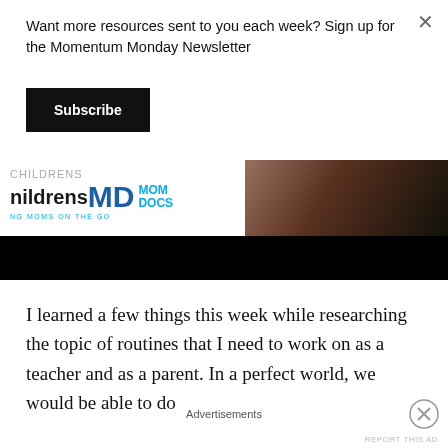Want more resources sent to you each week? Sign up for the Momentum Monday Newsletter
Subscribe
[Figure (screenshot): Advertisement banner for ChildrensMD Mom Docs website, showing logo on left and a woman's photo on right, with black bar below]
I learned a few things this week while researching the topic of routines that I need to work on as a teacher and as a parent. In a perfect world, we would be able to do
Advertisements